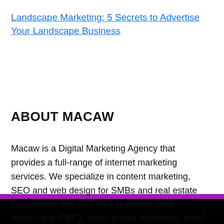Landscape Marketing: 5 Secrets to Advertise Your Landscape Business
ABOUT MACAW
Macaw is a Digital Marketing Agency that provides a full-range of internet marketing services. We specialize in content marketing, SEO and web design for SMBs and real estate businesses. We also offer branding, paid advertising (PPC), social media marketing, email marketing services and more.